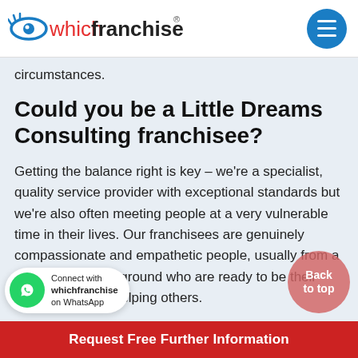whichfranchise.com®
circumstances.
Could you be a Little Dreams Consulting franchisee?
Getting the balance right is key – we're a specialist, quality service provider with exceptional standards but we're also often meeting people at a very vulnerable time in their lives. Our franchisees are genuinely compassionate and empathetic people, usually from a professional background who are ready to be their own boss whilst helping others.
Request Free Further Information